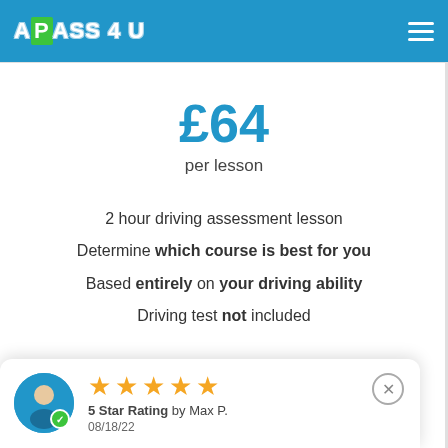APASS 4 U
£64
per lesson
2 hour driving assessment lesson
Determine which course is best for you
Based entirely on your driving ability
Driving test not included
5 Star Rating by Max P. 08/18/22